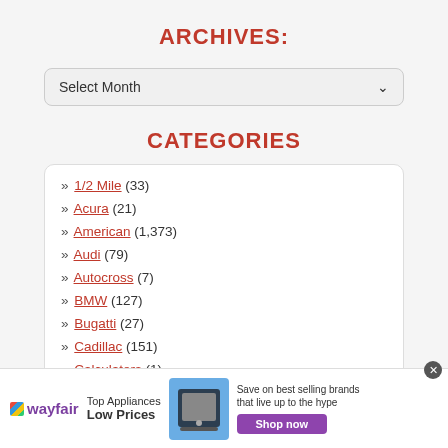ARCHIVES:
[Figure (other): Dropdown select box labeled 'Select Month' with chevron icon]
CATEGORIES
» 1/2 Mile (33)
» Acura (21)
» American (1,373)
» Audi (79)
» Autocross (7)
» BMW (127)
» Bugatti (27)
» Cadillac (151)
» Calculators (1)
[Figure (other): Wayfair advertisement banner: Top Appliances Low Prices, Save on best selling brands that live up to the hype, Shop now button]